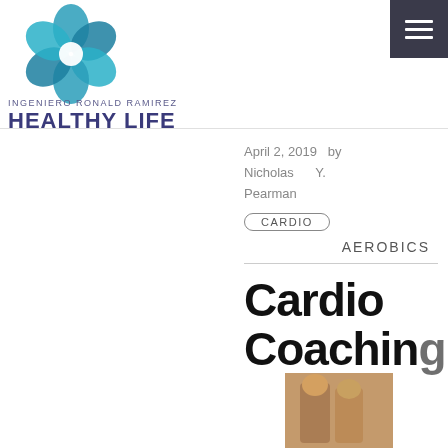[Figure (logo): Blue flower/petal logo for Ingeniero Ronald Ramirez Healthy Life website]
INGENIERO RONALD RAMIREZ
HEALTHY LIFE
[Figure (other): Hamburger menu button (three white lines on dark background)]
April 2, 2019  by Nicholas Y. Pearman
CARDIO
AEROBICS
Cardio Coaching
[Figure (photo): Photo of people exercising, partially visible at bottom of page]